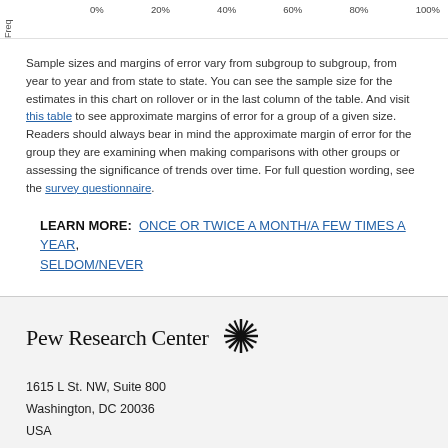[Figure (other): Partial view of a chart showing x-axis percentage labels (0%, 20%, 40%, 60%, 80%, 100%) and a rotated y-axis label 'Freq']
Sample sizes and margins of error vary from subgroup to subgroup, from year to year and from state to state. You can see the sample size for the estimates in this chart on rollover or in the last column of the table. And visit this table to see approximate margins of error for a group of a given size. Readers should always bear in mind the approximate margin of error for the group they are examining when making comparisons with other groups or assessing the significance of trends over time. For full question wording, see the survey questionnaire.
LEARN MORE: ONCE OR TWICE A MONTH/A FEW TIMES A YEAR, SELDOM/NEVER
Pew Research Center
1615 L St. NW, Suite 800
Washington, DC 20036
USA
(+1) 202-419-4300 | Main
(+1) 202-857-8562 | Fax